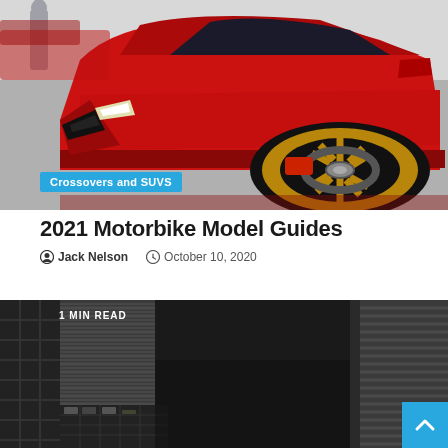[Figure (photo): Red sports car (Audi) with gold/bronze alloy wheel shown at a car show, close-up of front wheel and lower body]
Crossovers and SUVS
2021 Motorbike Model Guides
Jack Nelson   October 10, 2020
[Figure (photo): Dark automotive garage/dealership interior with corrugated metal shutters, a Nissan logo visible on the wall in the background, shelving with parts visible]
1 MIN READ